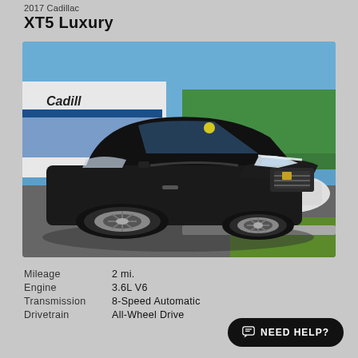2017 Cadillac
XT5 Luxury
[Figure (photo): Black 2017 Cadillac XT5 Luxury SUV parked in front of a Cadillac dealership on a sunny day. The vehicle is dark/black in color, shown from a front three-quarter angle.]
| Mileage | 2 mi. |
| Engine | 3.6L V6 |
| Transmission | 8-Speed Automatic |
| Drivetrain | All-Wheel Drive |
NEED HELP?